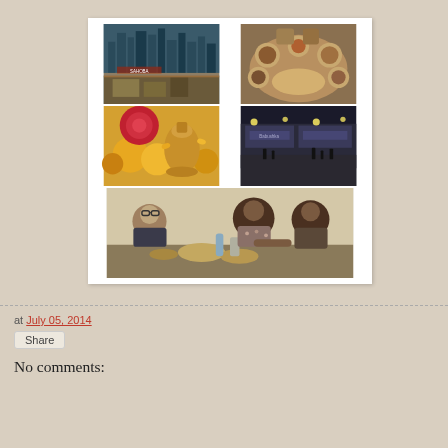[Figure (photo): Collage of 5 photos: top-left shows a food stall with city skyline, top-right shows traditional Indian thali with small bowls, middle-left shows flowers and a brass bell, middle-right shows a nighttime street scene with storefronts, bottom spanning both columns shows three people dining at a restaurant table]
at July 05, 2014
Share
No comments: